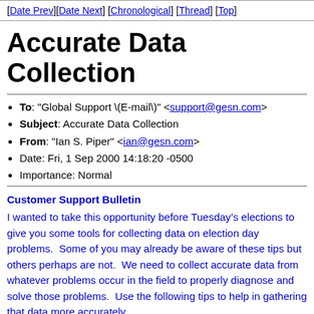[Date Prev][Date Next] [Chronological] [Thread] [Top]
Accurate Data Collection
To: "Global Support \(E-mail\)" <support@gesn.com>
Subject: Accurate Data Collection
From: "Ian S. Piper" <ian@gesn.com>
Date: Fri, 1 Sep 2000 14:18:20 -0500
Importance: Normal
Customer Support Bulletin
I wanted to take this opportunity before Tuesday’s elections to give you some tools for collecting data on election day problems.  Some of you may already be aware of these tips but others perhaps are not.  We need to collect accurate data from whatever problems occur in the field to properly diagnose and solve those problems.  Use the following tips to help in gathering that data more accurately.
The report from a pollworker saying "the AccuVote stopped taking ballots" is too vague for fault diagnosis.  When you're talking to